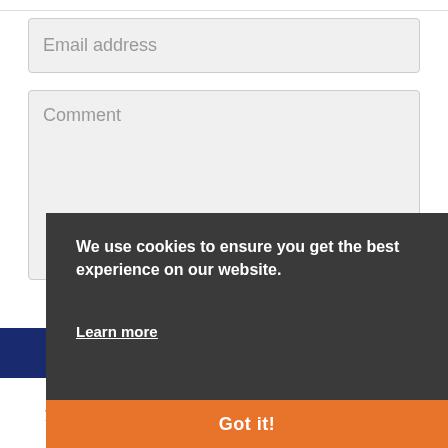Email address
Comment
We use cookies to ensure you get the best experience on our website.
Learn more
Got it!